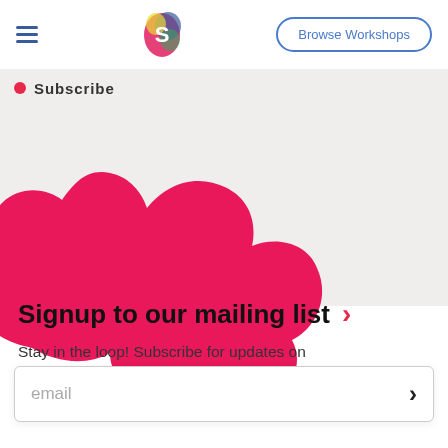Browse Workshops
Subscribe
[Figure (illustration): Large hot-pink cloud/blob decorative shape overlapping the grey and white sections]
Signup to our mailing list
Stay in the loop! Subscribe for updates on StoryBoard programs, workshops and opportunities.
email